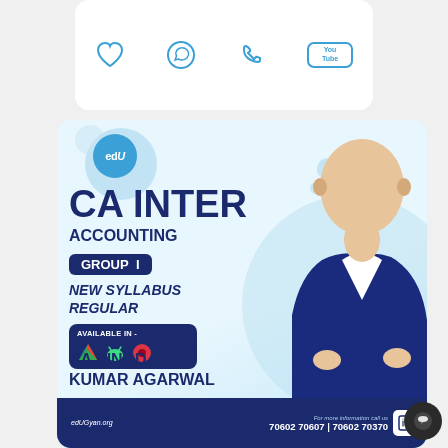[Figure (screenshot): Top card with social media icons: heart/wishlist, WhatsApp, phone call, YouTube]
[Figure (infographic): CA Inter Accounting course banner by EduGyan featuring CA Vinod Kumar Agarwal. Group I, New Syllabus, Regular. Available on Google Drive, Android, and other platforms. Contact: 70602 70607 | 70602 70370. edugyan.org]